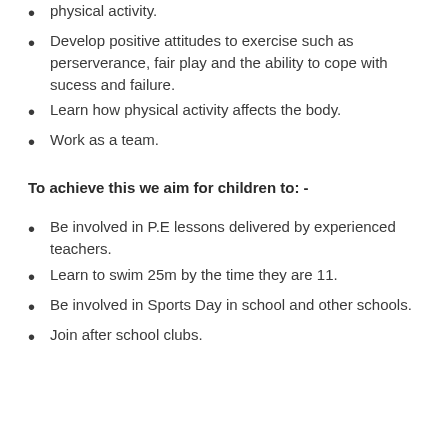physical activity.
Develop positive attitudes to exercise such as perserverance, fair play and the ability to cope with sucess and failure.
Learn how physical activity affects the body.
Work as a team.
To achieve this we aim for children to: -
Be involved in P.E lessons delivered by experienced teachers.
Learn to swim 25m by the time they are 11.
Be involved in Sports Day in school and other schools.
Join after school clubs.